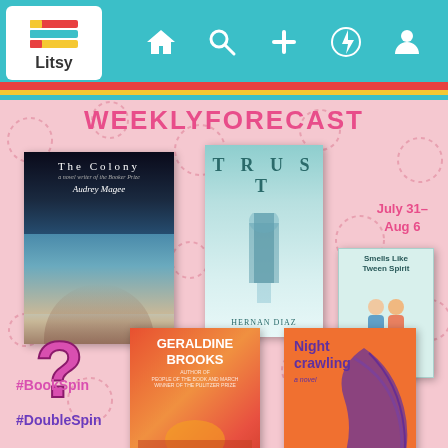[Figure (screenshot): Litsy app screenshot showing Weekly Forecast of books for July 31 - Aug 6, featuring book covers for The Colony by Audrey Magee, Trust by Hernan Diaz, Smells Like Tween Spirit by Laurie Gelman, Horse by Geraldine Brooks, and Nightcrawling by Leila Mottley, with a question mark and hashtags #BookSpin and #DoubleSpin on a pink dotted background]